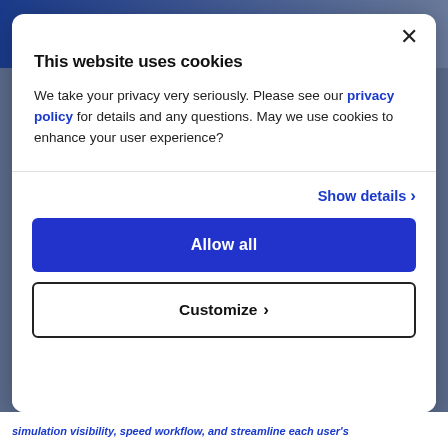This website uses cookies
We take your privacy very seriously. Please see our privacy policy for details and any questions. May we use cookies to enhance your user experience?
Show details >
Allow all
Customize >
simulation visibility, speed workflow, and streamline each user's